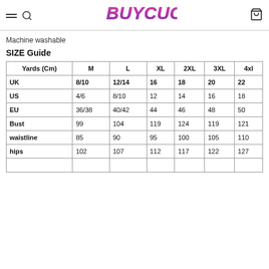BUYCUCU
Machine washable
SIZE Guide
| Yards (Cm) | M | L | XL | 2XL | 3XL | 4xl |
| --- | --- | --- | --- | --- | --- | --- |
| UK | 8/10 | 12/14 | 16 | 18 | 20 | 22 |
| US | 4/6 | 8/10 | 12 | 14 | 16 | 18 |
| EU | 36/38 | 40/42 | 44 | 46 | 48 | 50 |
| Bust | 99 | 104 | 119 | 124 | 119 | 121 |
| waistline | 85 | 90 | 95 | 100 | 105 | 110 |
| hips | 102 | 107 | 112 | 117 | 122 | 127 |